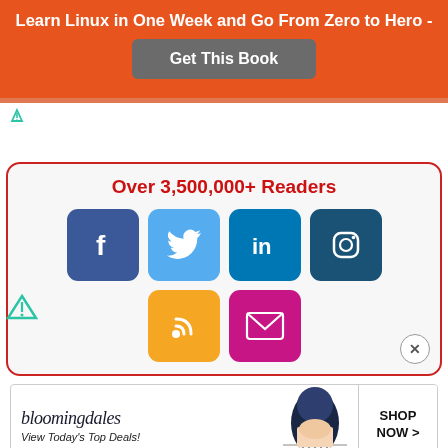Learn Linux in One Week and Go From Zero to Hero -
Get This Book
Over 3,500,000+ Readers
[Figure (infographic): Social media follow buttons: Facebook, Twitter, LinkedIn, Instagram, RSS, Email]
[Figure (infographic): Bloomingdales advertisement: bloomingdales View Today's Top Deals! SHOP NOW >]